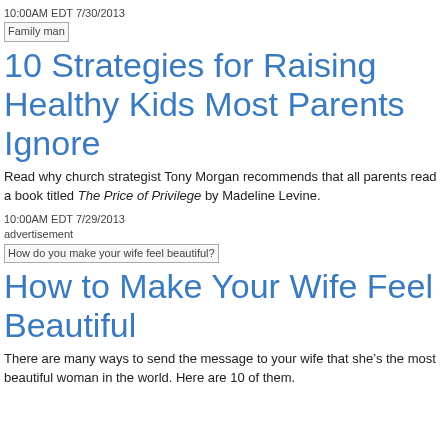10:00AM EDT 7/30/2013
[Figure (photo): Broken image placeholder: Family man]
10 Strategies for Raising Healthy Kids Most Parents Ignore
Read why church strategist Tony Morgan recommends that all parents read a book titled The Price of Privilege by Madeline Levine.
10:00AM EDT 7/29/2013
advertisement
[Figure (photo): Broken image placeholder: How do you make your wife feel beautiful?]
How to Make Your Wife Feel Beautiful
There are many ways to send the message to your wife that she’s the most beautiful woman in the world. Here are 10 of them.